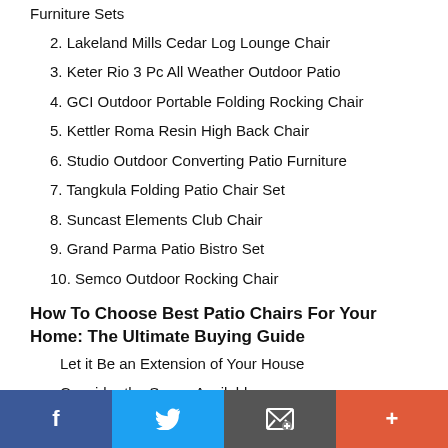Furniture Sets
2. Lakeland Mills Cedar Log Lounge Chair
3. Keter Rio 3 Pc All Weather Outdoor Patio
4. GCI Outdoor Portable Folding Rocking Chair
5. Kettler Roma Resin High Back Chair
6. Studio Outdoor Converting Patio Furniture
7. Tangkula Folding Patio Chair Set
8. Suncast Elements Club Chair
9. Grand Parma Patio Bistro Set
10. Semco Outdoor Rocking Chair
How To Choose Best Patio Chairs For Your Home: The Ultimate Buying Guide
Let it Be an Extension of Your House
Consider the Space Available